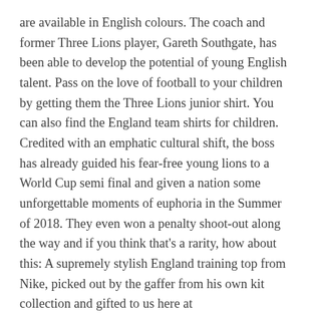are available in English colours. The coach and former Three Lions player, Gareth Southgate, has been able to develop the potential of young English talent. Pass on the love of football to your children by getting them the Three Lions junior shirt. You can also find the England team shirts for children. Credited with an emphatic cultural shift, the boss has already guided his fear-free young lions to a World Cup semi final and given a nation some unforgettable moments of euphoria in the Summer of 2018. They even won a penalty shoot-out along the way and if you think that's a rarity, how about this: A supremely stylish England training top from Nike, picked out by the gaffer from his own kit collection and gifted to us here at Footballers4Change. Support the Three Lions off the pitch with Nike lifestyle and sportswear.
And that decision has been backed by referee groups, the Referees' Association and Ref Support UK, who have both